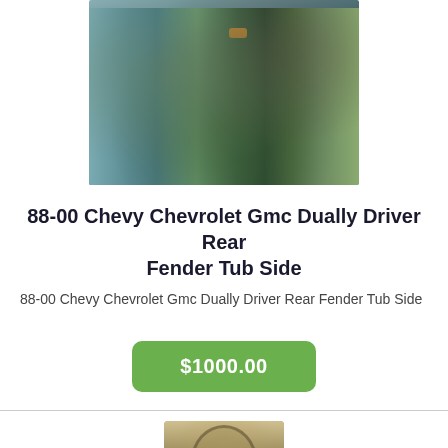[Figure (photo): Photo of a blue/teal truck fender tub side part lying in grass/outdoor junkyard setting]
88-00 Chevy Chevrolet Gmc Dually Driver Rear Fender Tub Side
88-00 Chevy Chevrolet Gmc Dually Driver Rear Fender Tub Side
$1000.00
[Figure (photo): Photo of a stone or concrete decorative arch/headstone shaped object]